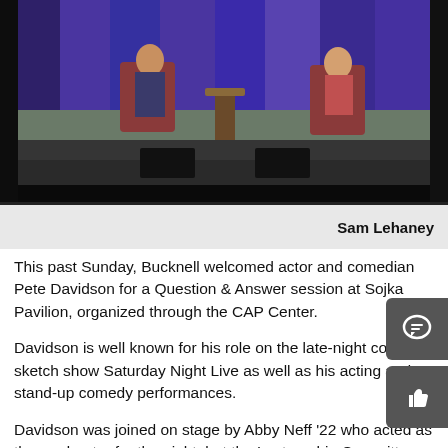[Figure (photo): Two people seated on a stage with red chairs, blue curtain backdrop, performing a question and answer session]
Sam Lehaney
This past Sunday, Bucknell welcomed actor and comedian Pete Davidson for a Question & Answer session at Sojka Pavilion, organized through the CAP Center.
Davidson is well known for his role on the late-night comedy sketch show Saturday Night Live as well as his acting and stand-up comedy performances.
Davidson was joined on stage by Abby Neff '22 who acted as the moderator for the night, but the Lectureship Committee was tasked with the planning of the night. .